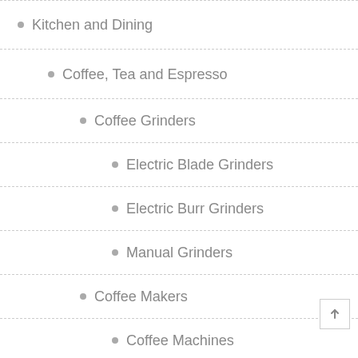Kitchen and Dining
Coffee, Tea and Espresso
Coffee Grinders
Electric Blade Grinders
Electric Burr Grinders
Manual Grinders
Coffee Makers
Coffee Machines
Single-Serve Brewers